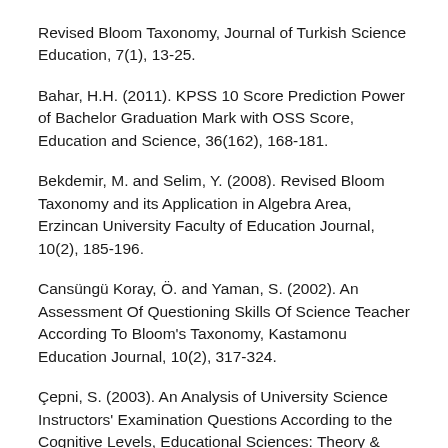Revised Bloom Taxonomy, Journal of Turkish Science Education, 7(1), 13-25.
Bahar, H.H. (2011). KPSS 10 Score Prediction Power of Bachelor Graduation Mark with OSS Score, Education and Science, 36(162), 168-181.
Bekdemir, M. and Selim, Y. (2008). Revised Bloom Taxonomy and its Application in Algebra Area, Erzincan University Faculty of Education Journal, 10(2), 185-196.
Cansüngü Koray, Ö. and Yaman, S. (2002). An Assessment Of Questioning Skills Of Science Teacher According To Bloom's Taxonomy, Kastamonu Education Journal, 10(2), 317-324.
Çepni, S. (2003). An Analysis of University Science Instructors' Examination Questions According to the Cognitive Levels, Educational Sciences: Theory & Practice